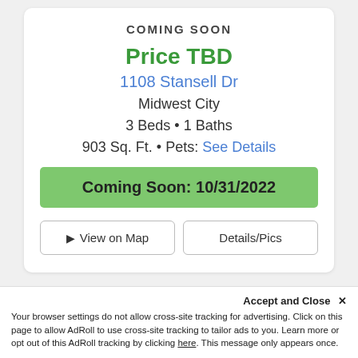COMING SOON
Price TBD
1108 Stansell Dr
Midwest City
3 Beds • 1 Baths
903 Sq. Ft. • Pets: See Details
Coming Soon: 10/31/2022
View on Map
Details/Pics
Accept and Close ✕
Your browser settings do not allow cross-site tracking for advertising. Click on this page to allow AdRoll to use cross-site tracking to tailor ads to you. Learn more or opt out of this AdRoll tracking by clicking here. This message only appears once.